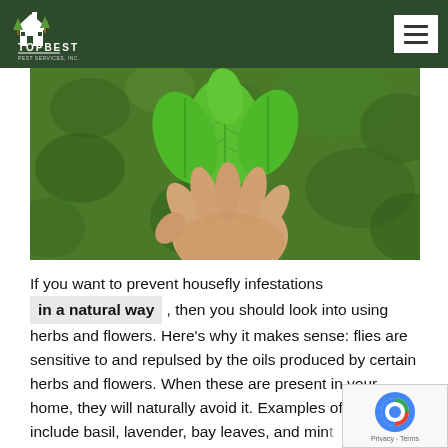TopBest Pest Services, Inc. — navigation header with logo and menu button
[Figure (photo): A hand holding fresh green mint leaves against a blurred green leafy background]
If you want to prevent housefly infestations in a natural way , then you should look into using herbs and flowers. Here's why it makes sense: flies are sensitive to and repulsed by the oils produced by certain herbs and flowers. When these are present in your home, they will naturally avoid it. Examples of these include basil, lavender, bay leaves, and mint